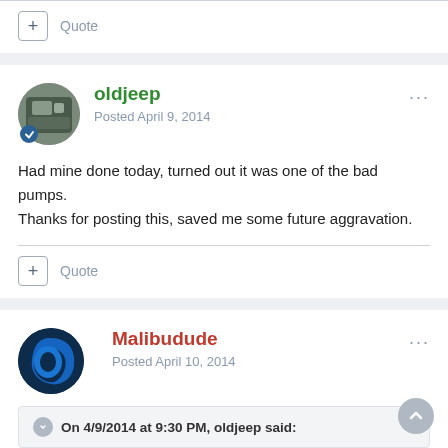+ Quote
oldjeep
Posted April 9, 2014
Had mine done today, turned out it was one of the bad pumps. Thanks for posting this, saved me some future aggravation.
+ Quote
Malibudude
Posted April 10, 2014
On 4/9/2014 at 9:30 PM, oldjeep said: